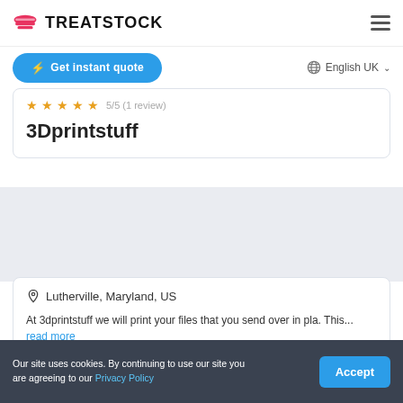TREATSTOCK
Get instant quote
English UK
5/5 (1 review)
3Dprintstuff
Lutherville, Maryland, US
At 3dprintstuff we will print your files that you send over in pla. This... read more
Our site uses cookies. By continuing to use our site you are agreeing to our Privacy Policy